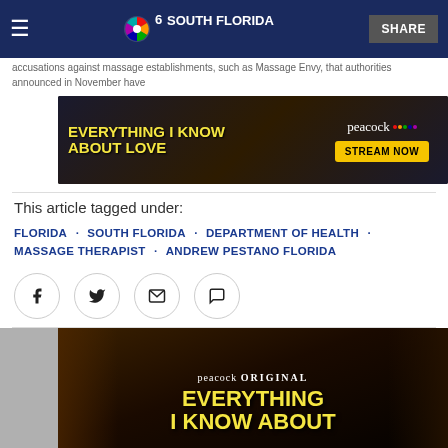NBC 6 South Florida
accusations against massage establishments, such as Massage Envy, that authorities announced in November have
[Figure (screenshot): Peacock advertisement banner: 'Everything I Know About Love' - Stream Now]
This article tagged under:
FLORIDA · SOUTH FLORIDA · DEPARTMENT OF HEALTH · MASSAGE THERAPIST · ANDREW PESTANO FLORIDA
[Figure (screenshot): Social share icons: Facebook, Twitter, Email, Comment]
[Figure (screenshot): Peacock Original promotional image for 'Everything I Know About Love']